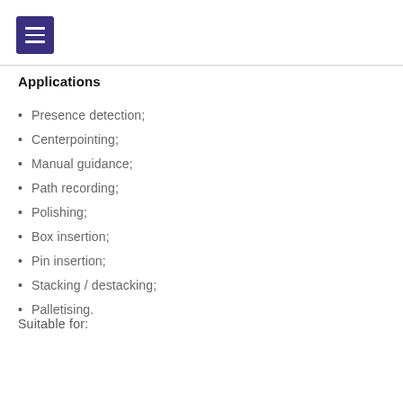[Figure (other): Menu/hamburger icon button with white three-line icon on dark purple/indigo background]
Applications
Presence detection;
Centerpointing;
Manual guidance;
Path recording;
Polishing;
Box insertion;
Pin insertion;
Stacking / destacking;
Palletising.
Suitable for: